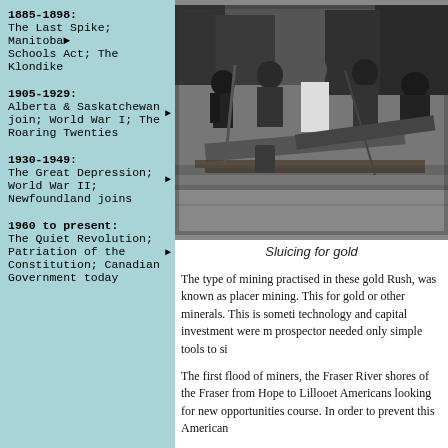1885-1898: The Last Spike; Manitoba Schools Act; The Klondike
1905-1929: Alberta & Saskatchewan join; World War I; The Roaring Twenties
1930-1949: The Great Depression; World War II; Newfoundland joins
1960 to present: The Quiet Revolution; Patriation of the Constitution; Canadian Government today
[Figure (photo): Black and white historical photograph of miners sluicing for gold, showing several people working with sluice equipment outdoors.]
Sluicing for gold
The type of mining practised in these gold Rush, was known as placer mining. This for gold or other minerals. This is someti technology and capital investment were m prospector needed only simple tools to si
The first flood of miners, the Fraser Rive shores of the Fraser from Hope to Lillooet Americans looking for new opportunities course. In order to prevent this American